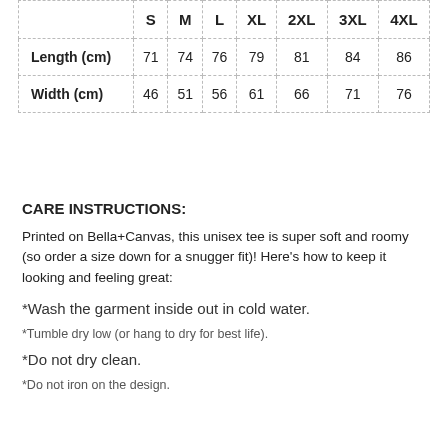|  | S | M | L | XL | 2XL | 3XL | 4XL |
| --- | --- | --- | --- | --- | --- | --- | --- |
| Length (cm) | 71 | 74 | 76 | 79 | 81 | 84 | 86 |
| Width (cm) | 46 | 51 | 56 | 61 | 66 | 71 | 76 |
CARE INSTRUCTIONS:
Printed on Bella+Canvas, this unisex tee is super soft and roomy (so order a size down for a snugger fit)! Here's how to keep it looking and feeling great:
*Wash the garment inside out in cold water.
*Tumble dry low (or hang to dry for best life).
*Do not dry clean.
*Do not iron on the design.